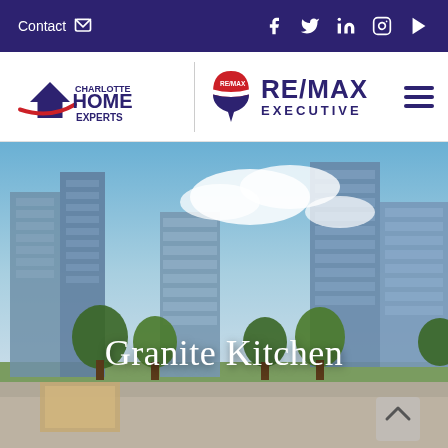Contact  f  Twitter  in  Instagram  YouTube
[Figure (logo): Charlotte Home Experts | RE/MAX Executive logo]
[Figure (photo): Aerial/street-level photo of Charlotte NC downtown skyline with glass skyscrapers, trees, and a park in the foreground]
Granite Kitchen